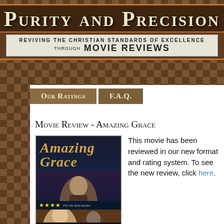Purity and Precision
REVIVING THE CHRISTIAN STANDARDS OF EXCELLENCE THROUGH MOVIE REVIEWS
Our Ratings
F.A.Q.
Movie Review - Amazing Grace
[Figure (photo): Movie poster for Amazing Grace showing cast and star ratings with text 'A Must-See']
This movie has been reviewed in our new format and rating system. To see the new review, click here.